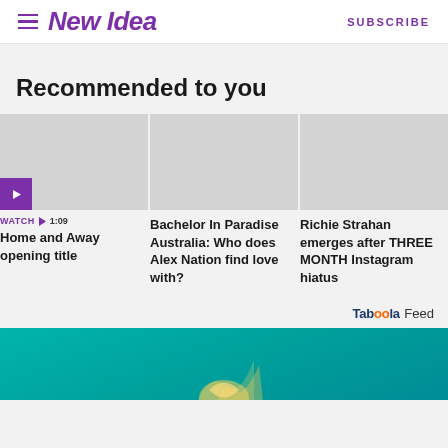New Idea — SUBSCRIBE
Recommended to you
[Figure (screenshot): Card row with three article thumbnails: 1) Home and Away opening title (video, 1:09), 2) Bachelor In Paradise Australia: Who does Alex Nation find love with?, 3) Richie Strahan emerges after THREE MONTH Instagram hiatus. Partial fourth card visible on right edge.]
Taboola Feed
[Figure (photo): Teal/aqua underwater-themed advertisement image with a partial object visible at bottom of page]